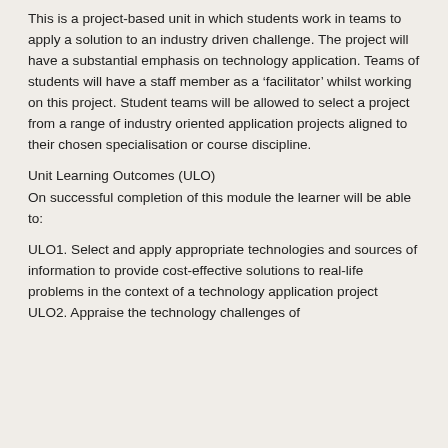This is a project-based unit in which students work in teams to apply a solution to an industry driven challenge. The project will have a substantial emphasis on technology application. Teams of students will have a staff member as a ‘facilitator’ whilst working on this project. Student teams will be allowed to select a project from a range of industry oriented application projects aligned to their chosen specialisation or course discipline.
Unit Learning Outcomes (ULO)
On successful completion of this module the learner will be able to:
ULO1. Select and apply appropriate technologies and sources of information to provide cost-effective solutions to real-life problems in the context of a technology application project
ULO2. Appraise the technology challenges of